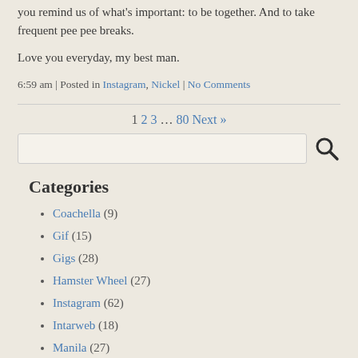you remind us of what's important: to be together. And to take frequent pee pee breaks.
Love you everyday, my best man.
6:59 am | Posted in Instagram, Nickel | No Comments
1 2 3 … 80 Next »
Categories
Coachella (9)
Gif (15)
Gigs (28)
Hamster Wheel (27)
Instagram (62)
Intarweb (18)
Manila (27)